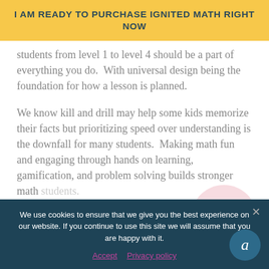I AM READY TO PURCHASE IGNITED MATH RIGHT NOW
students from level 1 to level 4 should be a part of everything you do.  With universal design being the foundation for how a lesson is planned.
We know kill and drill may help some kids memorize their facts but prioritizing speed over understanding is the downfall for many students.  Making math fun and engaging through hands on learning, gamification, and problem solving builds stronger math students.
We use cookies to ensure that we give you the best experience on our website. If you continue to use this site we will assume that you are happy with it.
Accept   Privacy policy